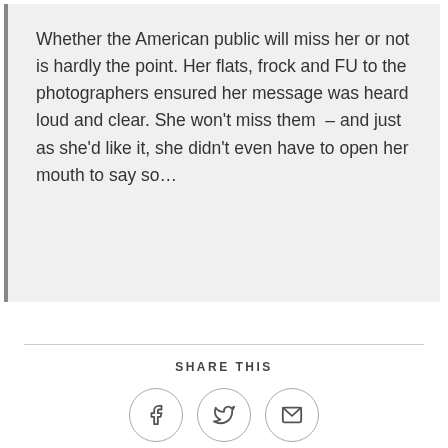Whether the American public will miss her or not is hardly the point. Her flats, frock and FU to the photographers ensured her message was heard loud and clear. She won't miss them – and just as she'd like it, she didn't even have to open her mouth to say so…
SHARE THIS
[Figure (infographic): Three circular social share buttons: Facebook (f icon), Twitter (bird icon), and Email (envelope icon)]